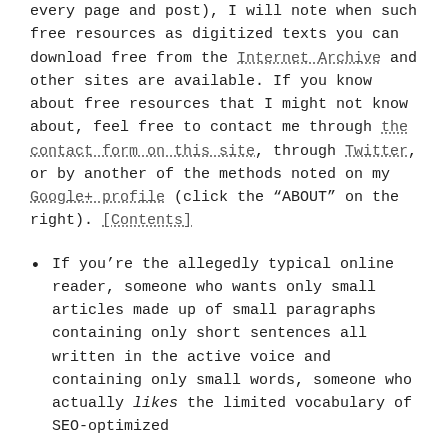every page and post), I will note when such free resources as digitized texts you can download free from the Internet Archive and other sites are available. If you know about free resources that I might not know about, feel free to contact me through the contact form on this site, through Twitter, or by another of the methods noted on my Google+ profile (click the “ABOUT” on the right). [Contents]
If you’re the allegedly typical online reader, someone who wants only small articles made up of small paragraphs containing only short sentences all written in the active voice and containing only small words, someone who actually likes the limited vocabulary of SEO-optimized